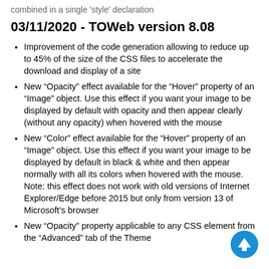combined in a single 'style' declaration
03/11/2020 - TOWeb version 8.08
Improvement of the code generation allowing to reduce up to 45% of the size of the CSS files to accelerate the download and display of a site
New “Opacity” effect available for the “Hover” property of an “Image” object. Use this effect if you want your image to be displayed by default with opacity and then appear clearly (without any opacity) when hovered with the mouse
New “Color” effect available for the “Hover” property of an “Image” object. Use this effect if you want your image to be displayed by default in black & white and then appear normally with all its colors when hovered with the mouse. Note: this effect does not work with old versions of Internet Explorer/Edge before 2015 but only from version 13 of Microsoft's browser
New “Opacity” property applicable to any CSS element from the “Advanced” tab of the Theme